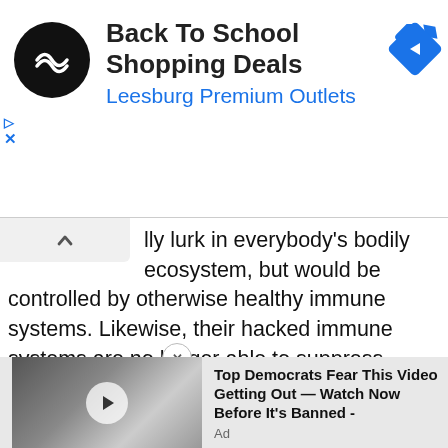[Figure (other): Advertisement banner for Back To School Shopping Deals at Leesburg Premium Outlets, with circular logo and navigation icon]
lly lurk in everybody's bodily ecosystem, but would be controlled by otherwise healthy immune systems. Likewise, their hacked immune systems are no longer able to suppress cancers — many forms of which are already way up above normal statistical levels. Not to mention damage done to cardiovascular systems by spike proteins, which linger in human bodies for more than a year after “vaccine” shots, as well as neurological and brain damage.
[Figure (other): Video advertisement showing two people (man and woman) with text: Top Democrats Fear This Video Getting Out — Watch Now Before It's Banned - Ad]